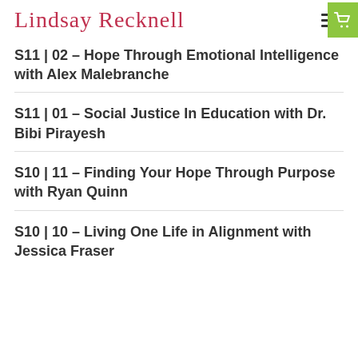Lindsay Recknell
S11 | 02 – Hope Through Emotional Intelligence with Alex Malebranche
S11 | 01 – Social Justice In Education with Dr. Bibi Pirayesh
S10 | 11 – Finding Your Hope Through Purpose with Ryan Quinn
S10 | 10 – Living One Life in Alignment with Jessica Fraser